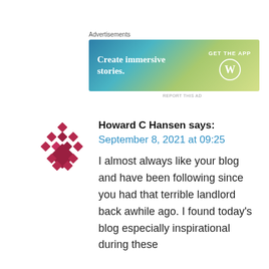Advertisements
[Figure (illustration): WordPress advertisement banner with gradient blue-green-yellow background. Left side text: 'Create immersive stories.' Right side: 'GET THE APP' with WordPress logo (W in circle).]
REPORT THIS AD
[Figure (illustration): Avatar icon made of diamond/rhombus shapes arranged in a grid pattern, colored in dark pink/crimson.]
Howard C Hansen says:
September 8, 2021 at 09:25
I almost always like your blog and have been following since you had that terrible landlord back awhile ago. I found today’s blog especially inspirational during these